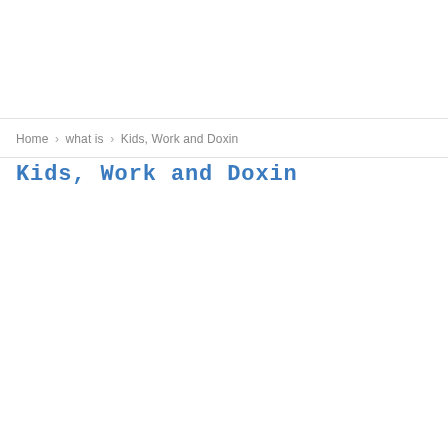Home › what is › Kids, Work and Doxin
Kids, Work and Doxin